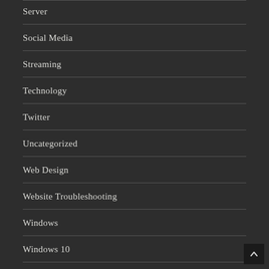Server
Social Media
Streaming
Technology
Twitter
Uncategorized
Web Design
Website Troubleshooting
Windows
Windows 10
Windows 7